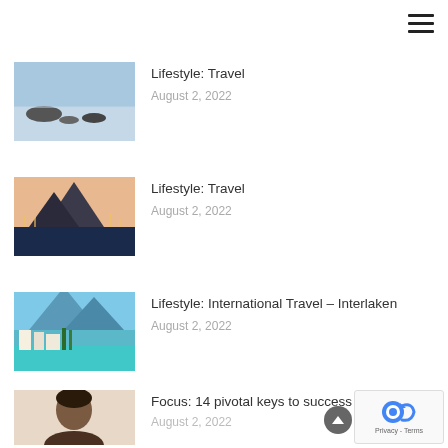[Figure (other): Hamburger menu icon (three horizontal lines) in top right corner]
[Figure (photo): Coastal beach scene with rocks and calm water under blue sky]
Lifestyle: Travel
August 2, 2022
[Figure (photo): City waterfront at dusk with mountain silhouette in background]
Lifestyle: Travel
August 2, 2022
[Figure (photo): Alpine village with turquoise lake and mountains in background - Interlaken]
Lifestyle: International Travel – Interlaken
August 2, 2022
[Figure (photo): Portrait of a smiling woman]
Focus: 14 pivotal keys to success
August 2, 2022
[Figure (other): Cookie consent badge with reCAPTCHA logo and Privacy/Terms links]